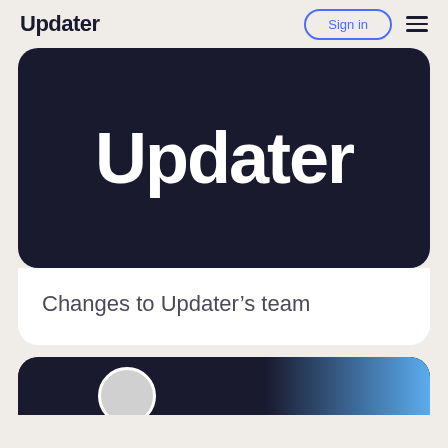Updater
[Figure (screenshot): Navigation bar with Updater logo, Sign in button, and hamburger menu]
Updater
Changes to Updater's team
[Figure (photo): Partially visible card with dark background and blue accent, showing bottom of page]